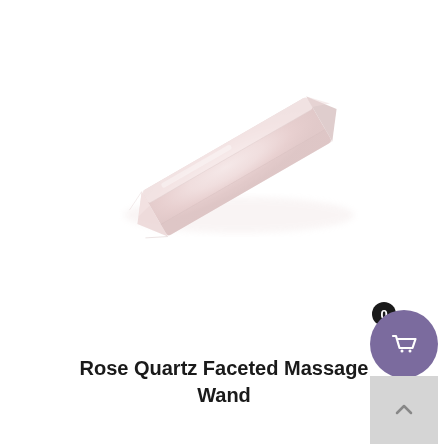[Figure (photo): A pale pink rose quartz faceted massage wand photographed diagonally on a white background. The wand is elongated with faceted hexagonal sides and pointed tips, showing a soft translucent pink color.]
Rose Quartz Faceted Massage Wand